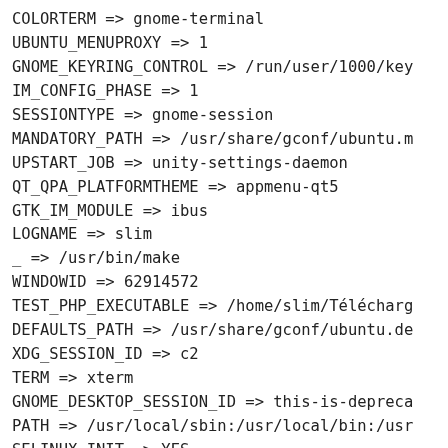COLORTERM => gnome-terminal
UBUNTU_MENUPROXY => 1
GNOME_KEYRING_CONTROL => /run/user/1000/key
IM_CONFIG_PHASE => 1
SESSIONTYPE => gnome-session
MANDATORY_PATH => /usr/share/gconf/ubuntu.m
UPSTART_JOB => unity-settings-daemon
QT_QPA_PLATFORMTHEME => appmenu-qt5
GTK_IM_MODULE => ibus
LOGNAME => slim
_ => /usr/bin/make
WINDOWID => 62914572
TEST_PHP_EXECUTABLE => /home/slim/Télécharg
DEFAULTS_PATH => /usr/share/gconf/ubuntu.de
XDG_SESSION_ID => c2
TERM => xterm
GNOME_DESKTOP_SESSION_ID => this-is-depreca
PATH => /usr/local/sbin:/usr/local/bin:/usr
SELINUX_INIT => YES